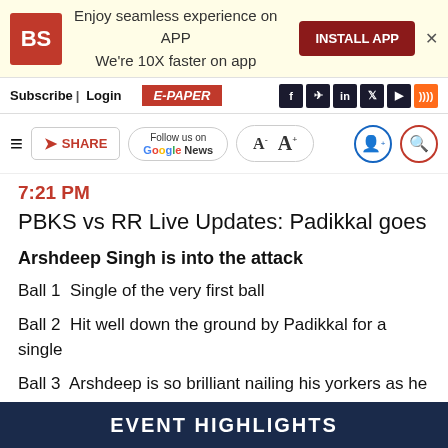BS | Enjoy seamless experience on APP We're 10X faster on app | INSTALL APP
Subscribe | Login | E-PAPER
≡ SHARE | Follow us on Google News | A- A+
7:21 PM
PBKS vs RR Live Updates: Padikkal goes
Arshdeep Singh is into the attack
Ball 1  Single of the very first ball
Ball 2  Hit well down the ground by Padikkal for a single
Ball 3  Arshdeep is so brilliant nailing his yorkers as he nails another one and oly a single is possible of this one
EVENT HIGHLIGHTS